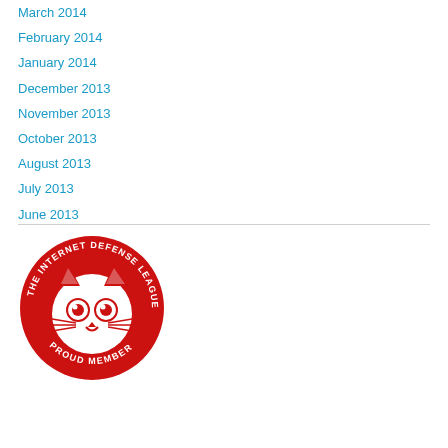March 2014
February 2014
January 2014
December 2013
November 2013
October 2013
August 2013
July 2013
June 2013
[Figure (logo): The Internet Defense League - Proud Member badge: a circular red logo featuring a cartoon cat face with the text 'THE INTERNET DEFENSE LEAGUE' arced along the top and 'PROUD MEMBER' arced along the bottom]